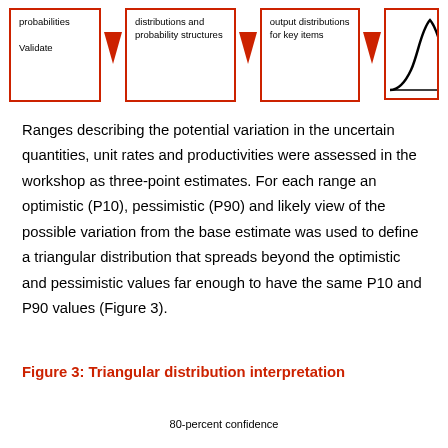[Figure (infographic): Four-step process diagram showing boxes with red borders and downward arrows. Box 1: 'probabilities Validate'. Box 2: 'distributions and probability structures'. Box 3: 'output distributions for key items'. Box 4: A bell curve chart inside a red-bordered box.]
Ranges describing the potential variation in the uncertain quantities, unit rates and productivities were assessed in the workshop as three-point estimates. For each range an optimistic (P10), pessimistic (P90) and likely view of the possible variation from the base estimate was used to define a triangular distribution that spreads beyond the optimistic and pessimistic values far enough to have the same P10 and P90 values (Figure 3).
Figure 3: Triangular distribution interpretation
80-percent confidence